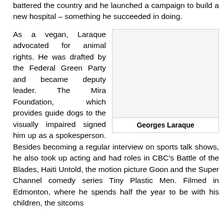battered the country and he launched a campaign to build a new hospital – something he succeeded in doing.
[Figure (photo): Portrait photo of Georges Laraque (placeholder/blank image area)]
Georges Laraque
As a vegan, Laraque advocated for animal rights. He was drafted by the Federal Green Party and became deputy leader. The Mira Foundation, which provides guide dogs to the visually impaired signed him up as a spokesperson. Besides becoming a regular interview on sports talk shows, he also took up acting and had roles in CBC's Battle of the Blades, Haiti Untold, the motion picture Goon and the Super Channel comedy series Tiny Plastic Men. Filmed in Edmonton, where he spends half the year to be with his children, the sitcoms